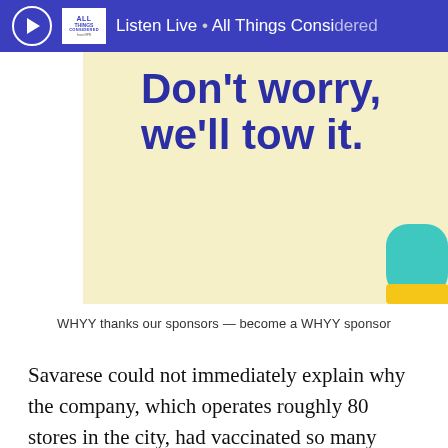Listen Live • All Things Considered
[Figure (illustration): Advertisement banner with cream/yellow background showing text 'Don't worry, we'll tow it.' in bold dark blue, with a teal and yellow graphic element (partial car/tow figure) in the bottom right corner.]
WHYY thanks our sponsors — become a WHYY sponsor
Savarese could not immediately explain why the company, which operates roughly 80 stores in the city, had vaccinated so many more suburbanites.